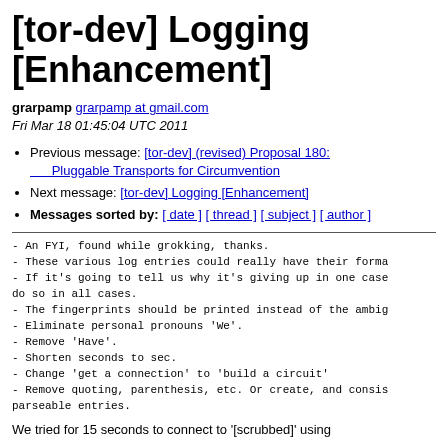[tor-dev] Logging [Enhancement]
grarpamp grarpamp at gmail.com
Fri Mar 18 01:45:04 UTC 2011
Previous message: [tor-dev] (revised) Proposal 180: Pluggable Transports for Circumvention
Next message: [tor-dev] Logging [Enhancement]
Messages sorted by: [ date ] [ thread ] [ subject ] [ author ]
- An FYI, found while grokking, thanks.
- These various log entries could really have their forma
- If it's going to tell us why it's giving up in one case
do so in all cases.
- The fingerprints should be printed instead of the ambig
- Eliminate personal pronouns 'We'.
- Remove 'Have'.
- Shorten seconds to sec.
- Change 'get a connection' to 'build a circuit'
- Remove quoting, parenthesis, etc. Or create, and consis
parseable entries.
We tried for 15 seconds to connect to '[scrubbed]' using